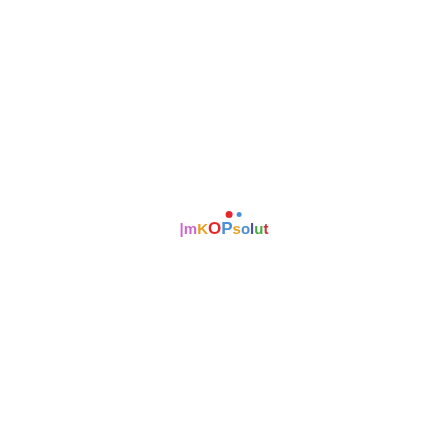[Figure (logo): mKOPsolut logo with colorful letters and two dots above — a red dot and a smaller blue dot. Letters colored: pipe and 'm' in purple, 'K' in orange, 'O' in red, 'P' in blue, 's' in orange, 'o' in blue, 'l' in dark blue/purple, 'u' in green, 't' in red.]